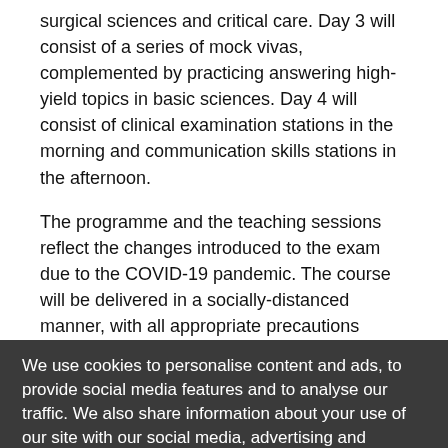surgical sciences and critical care. Day 3 will consist of a series of mock vivas, complemented by practicing answering high-yield topics in basic sciences. Day 4 will consist of clinical examination stations in the morning and communication skills stations in the afternoon.
The programme and the teaching sessions reflect the changes introduced to the exam due to the COVID-19 pandemic. The course will be delivered in a socially-distanced manner, with all appropriate precautions taken in order to comply with the regulatory guidelines.
Topics Covered:
Anatomy:
Brachial plexus and upper limb nerve injuries
Shoulder and back
We use cookies to personalise content and ads, to provide social media features and to analyse our traffic. We also share information about your use of our site with our social media, advertising and analytics partners. Our privacy and cookie